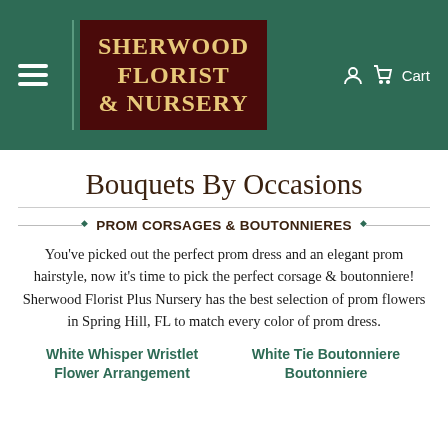[Figure (logo): Sherwood Florist & Nursery website header with green background, hamburger menu, logo in dark red box, and cart icon]
Bouquets By Occasions
PROM CORSAGES & BOUTONNIERES
You've picked out the perfect prom dress and an elegant prom hairstyle, now it's time to pick the perfect corsage & boutonniere! Sherwood Florist Plus Nursery has the best selection of prom flowers in Spring Hill, FL to match every color of prom dress.
White Whisper Wristlet Flower Arrangement
White Tie Boutonniere Boutonniere